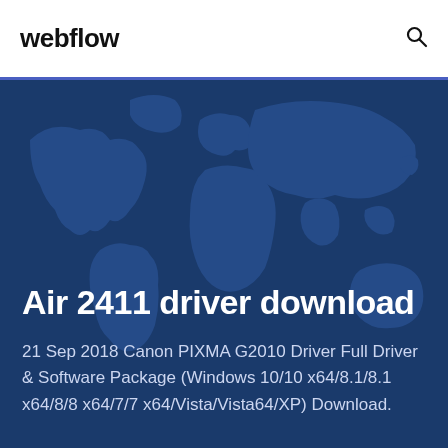webflow
Air 2411 driver download
21 Sep 2018 Canon PIXMA G2010 Driver Full Driver & Software Package (Windows 10/10 x64/8.1/8.1 x64/8/8 x64/7/7 x64/Vista/Vista64/XP) Download.